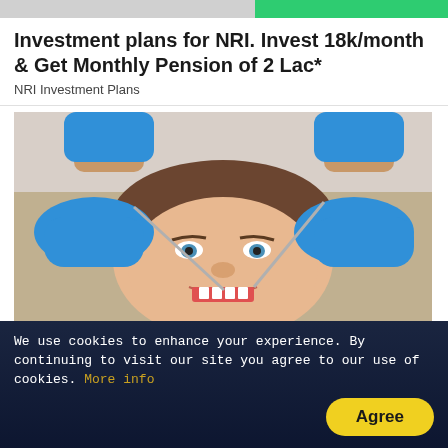[Figure (other): Top banner with gray and green bars]
Investment plans for NRI. Invest 18k/month & Get Monthly Pension of 2 Lac*
NRI Investment Plans
[Figure (photo): A woman with open mouth receiving dental examination from a dentist wearing blue gloves holding dental tools]
The Cost of Dental Implant in United States Might Surprise You
We use cookies to enhance your experience. By continuing to visit our site you agree to our use of cookies. More info
Agree